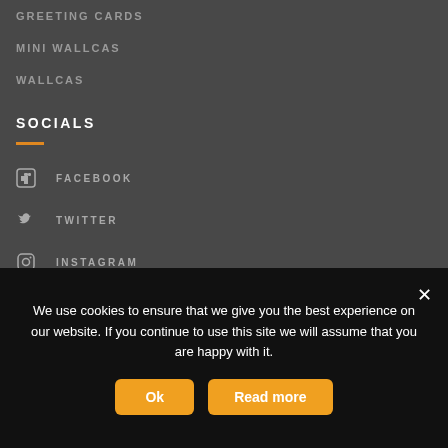GREETING CARDS
MINI WALLCAS
WALLCAS
SOCIALS
FACEBOOK
TWITTER
INSTAGRAM
PINTEREST
TUMBLR
We use cookies to ensure that we give you the best experience on our website. If you continue to use this site we will assume that you are happy with it.